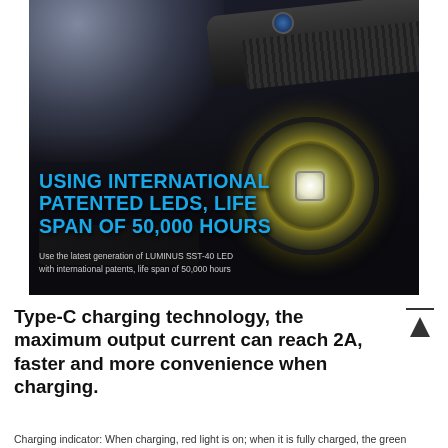[Figure (photo): A dark tactical flashlight photographed against a dark background with black gloves. The flashlight emits a bright beam. The front LED element shows a large yellow circular face with a center LED chip. Overlaid text in bold cyan/blue reads 'USING INTERNATIONAL PATENTED LEDS, LIFE SPAN OF 50,000 HOURS' with smaller white caption text below.]
Type-C charging technology, the maximum output current can reach 2A, faster and more convenience when charging.
Charging indicator: When charging, red light is on; when it is fully charged, the green light is on.